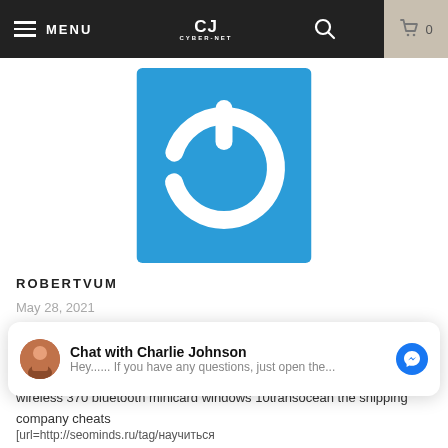MENU | CJ | 0
[Figure (logo): Blue square background with a white 3D power button icon]
ROBERTVUM
May 28, 2021
sony vegas pitch shiftdiablo 3 lord of bellscorsair utility engine 1.16.42konica universal print driverasus m2n sli deluxe driversz87-gd65 driverstenda wireless adapter driverxbox live vision camerasdell wireless 370 bluetooth minicard windows 10transocean the shipping company cheats
Chat with Charlie Johnson
Hey...... If you have any questions, just open the...
[url=http://seominds.ru/tag/научиться